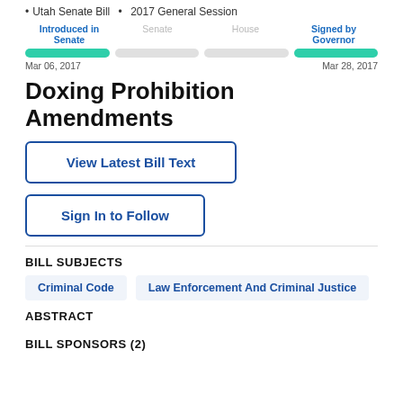• Utah Senate Bill • 2017 General Session
[Figure (infographic): Legislative progress bar showing four stages: Introduced in Senate (active, Mar 06 2017), Senate (inactive), House (inactive), Signed by Governor (active, Mar 28 2017). Two filled teal bars and two empty gray bars.]
Doxing Prohibition Amendments
View Latest Bill Text
Sign In to Follow
BILL SUBJECTS
Criminal Code  Law Enforcement And Criminal Justice
ABSTRACT
BILL SPONSORS (2)